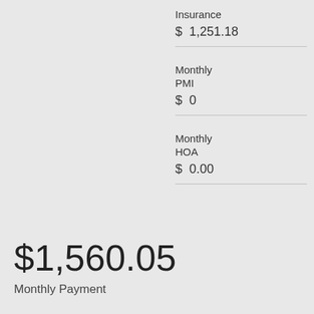Insurance
$ 1,251.18
Monthly PMI
$ 0
Monthly HOA
$ 0.00
$1,560.05
Monthly Payment